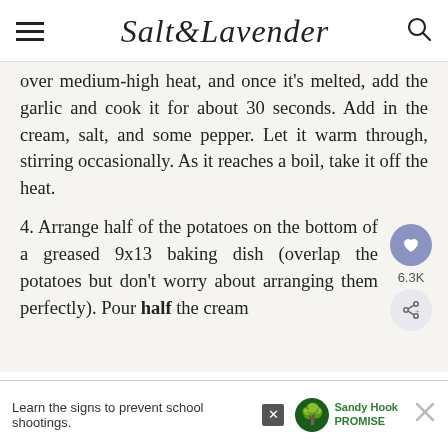Salt & Lavender
over medium-high heat, and once it's melted, add the garlic and cook it for about 30 seconds. Add in the cream, salt, and some pepper. Let it warm through, stirring occasionally. As it reaches a boil, take it off the heat.
4. Arrange half of the potatoes on the bottom of a greased 9x13 baking dish (overlap the potatoes but don't worry about arranging them perfectly). Pour half the cream
Learn the signs to prevent school shootings.